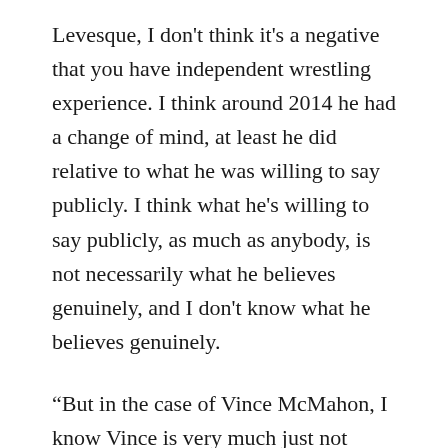Levesque, I don't think it's a negative that you have independent wrestling experience. I think around 2014 he had a change of mind, at least he did relative to what he was willing to say publicly. I think what he's willing to say publicly, as much as anybody, is not necessarily what he believes genuinely, and I don't know what he believes genuinely.
“But in the case of Vince McMahon, I know Vince is very much just not aware of what's going on in wrestling beyond his company, but I do wonder when or if he learns that somebody has an independent wrestling background or has any sort of wrestling background outside